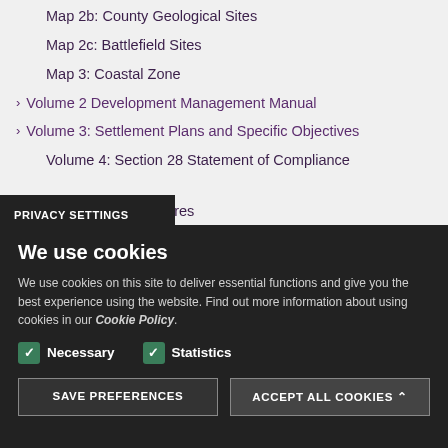Map 2b: County Geological Sites
Map 2c: Battlefield Sites
Map 3: Coastal Zone
Volume 2 Development Management Manual
Volume 3: Settlement Plans and Specific Objectives
Volume 4: Section 28 Statement of Compliance
of Protected Structures
ural Conservation Areas
PRIVACY SETTINGS
We use cookies
We use cookies on this site to deliver essential functions and give you the best experience using the website. Find out more information about using cookies in our Cookie Policy.
Necessary
Statistics
SAVE PREFERENCES
ACCEPT ALL COOKIES